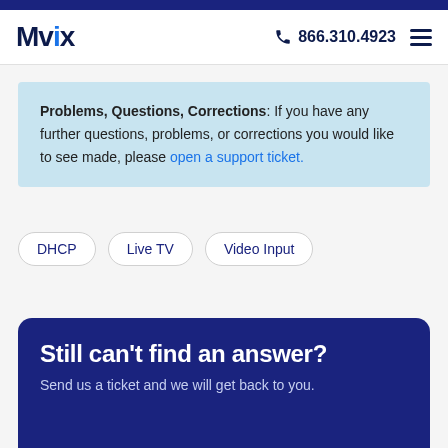Since 2005
Mvix  866.310.4923
Problems, Questions, Corrections: If you have any further questions, problems, or corrections you would like to see made, please open a support ticket.
DHCP
Live TV
Video Input
Still can't find an answer?
Send us a ticket and we will get back to you.